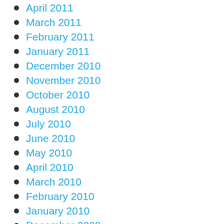April 2011
March 2011
February 2011
January 2011
December 2010
November 2010
October 2010
August 2010
July 2010
June 2010
May 2010
April 2010
March 2010
February 2010
January 2010
December 2009
November 2009
October 2009